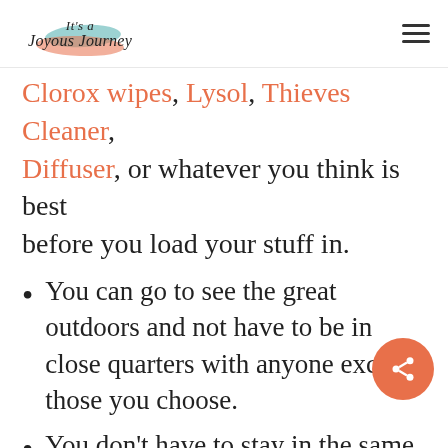It's a Joyous Journey
Clorox wipes, Lysol, Thieves Cleaner, Diffuser, or whatever you think is best before you load your stuff in.
You can go to see the great outdoors and not have to be in close quarters with anyone except those you choose.
You don't have to stay in the same place for your whole trip. You can use an app like Roadtrippers. Roadtrippers Plus is your personal travel guide & route maker for the ultimate road trip. Plan up to 150 stops,